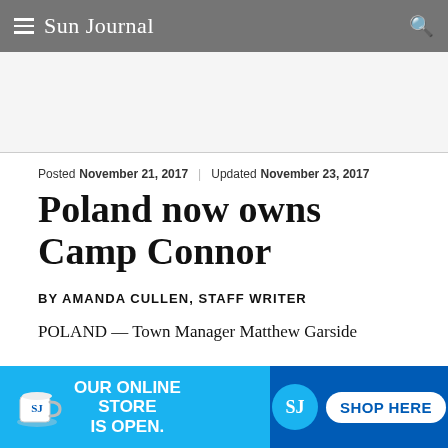Sun Journal
Posted November 21, 2017 | Updated November 23, 2017
Poland now owns Camp Connor
BY AMANDA CULLEN, STAFF WRITER
POLAND — Town Manager Matthew Garside
[Figure (infographic): Advertisement banner: OUR ONLINE STORE IS OPEN. with a mug image on the left (blue background) and SHOP HERE button with SJ logo on the right (dark blue background).]